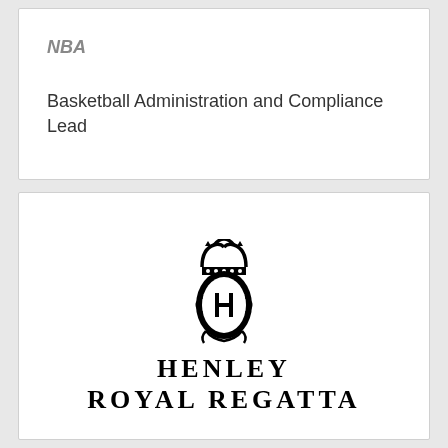NBA
Basketball Administration and Compliance Lead
[Figure (logo): Henley Royal Regatta logo with crown and monogram HRR crest above the text HENLEY ROYAL REGATTA]